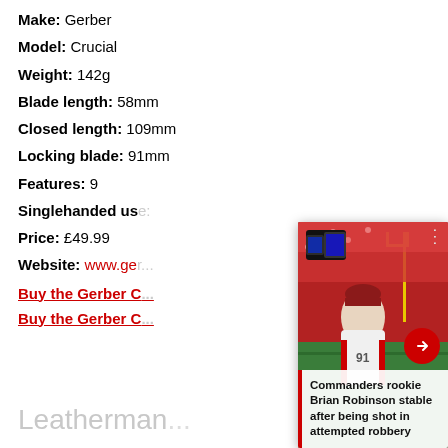Make: Gerber
Model: Crucial
Weight: 142g
Blade length: 58mm
Closed length: 109mm
Locking blade: 91mm
Features: 9
Singlehanded use:
Price: £49.99
Website: www.ge...
Buy the Gerber C...
Buy the Gerber C...
Leatherman
[Figure (photo): NFL player (Washington Commanders rookie Brian Robinson) on a football field with stadium seating in background, overlaid with a news card caption]
Commanders rookie Brian Robinson stable after being shot in attempted robbery